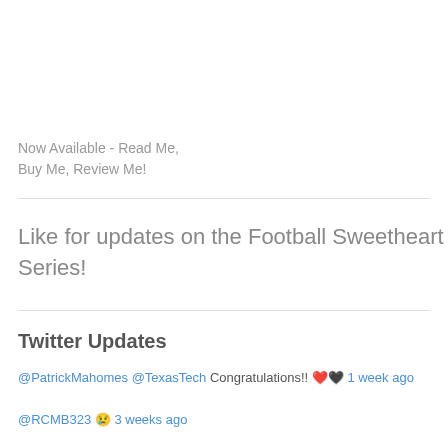Now Available - Read Me,
Buy Me, Review Me!
Like for updates on the Football Sweetheart Series!
Twitter Updates
@PatrickMahomes @TexasTech Congratulations!! ❤🖤 1 week ago
@RCMB323 😢 3 weeks ago